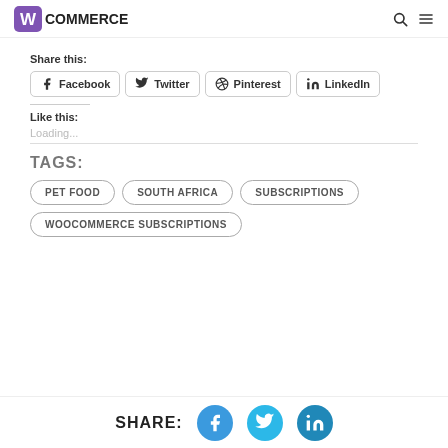WooCommerce [logo] [search icon] [menu icon]
Share this:
Facebook  Twitter  Pinterest  LinkedIn
Like this:
Loading...
TAGS:
PET FOOD
SOUTH AFRICA
SUBSCRIPTIONS
WOOCOMMERCE SUBSCRIPTIONS
SHARE: [Facebook] [Twitter] [LinkedIn]